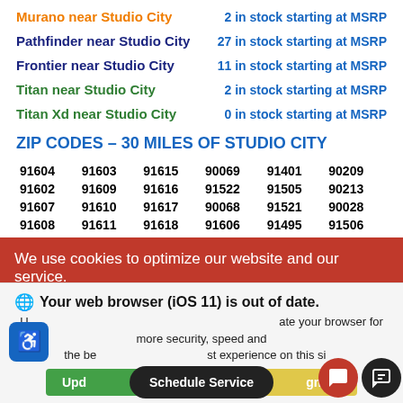Murano near Studio City — 2 in stock starting at MSRP
Pathfinder near Studio City — 27 in stock starting at MSRP
Frontier near Studio City — 11 in stock starting at MSRP
Titan near Studio City — 2 in stock starting at MSRP
Titan Xd near Studio City — 0 in stock starting at MSRP
ZIP CODES – 30 MILES OF STUDIO CITY
| 91604 | 91603 | 91615 | 90069 | 91401 | 90209 |
| 91602 | 91609 | 91616 | 91522 | 91505 | 90213 |
| 91607 | 91610 | 91617 | 90068 | 91521 | 90028 |
| 91608 | 91611 | 91618 | 91606 | 91495 | 91506 |
| 91423 | 91612 | 90046 | 91413 | 91403 | 91404 |
We use cookies to optimize our website and our service.
Cookie Policy   Privacy Statement
Your web browser (iOS 11) is out of date. Update your browser for more security, speed and the best experience on this site.
Schedule Service